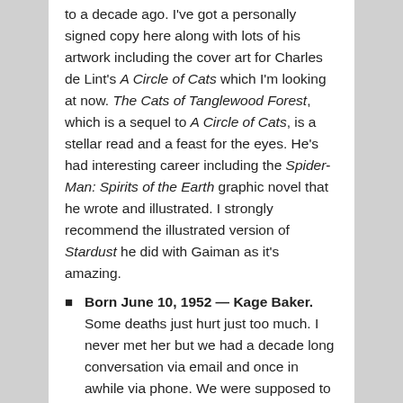to a decade ago. I've got a personally signed copy here along with lots of his artwork including the cover art for Charles de Lint's A Circle of Cats which I'm looking at now. The Cats of Tanglewood Forest, which is a sequel to A Circle of Cats, is a stellar read and a feast for the eyes. He's had interesting career including the Spider-Man: Spirits of the Earth graphic novel that he wrote and illustrated. I strongly recommend the illustrated version of Stardust he did with Gaiman as it's amazing.
Born June 10, 1952 — Kage Baker. Some deaths just hurt just too much. I never met her but we had a decade long conversation via email and once in awhile via phone. We were supposed to write a Company concordance in which I interviewed her Cyborgs for Golden Gryphon but she got too ill for it to happen. Harry the Space Raptor is now living with her sister Kathleen. The two of them were also frequent attenders of Ren Faires were they set up a tavern (John Hertz knew her that way) and sold